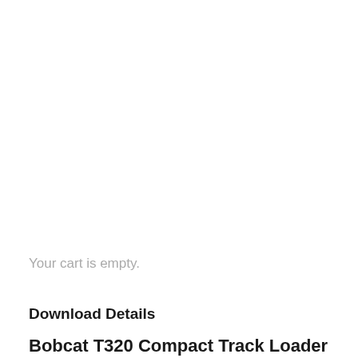Your cart is empty.
Download Details
Bobcat T320 Compact Track Loader